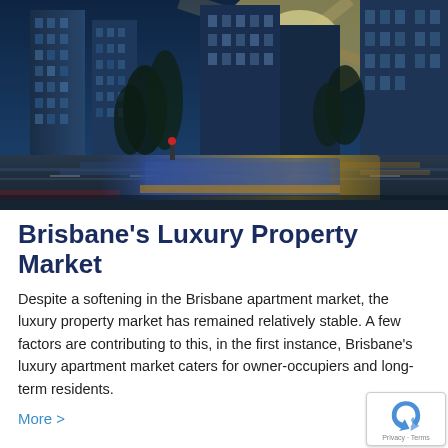[Figure (photo): City street-level view of Brisbane CBD with tall glass skyscrapers, trees, and a blurred bus/tram in motion under bright golden sunlight flare]
Brisbane's Luxury Property Market
Despite a softening in the Brisbane apartment market, the luxury property market has remained relatively stable. A few factors are contributing to this, in the first instance, Brisbane's luxury apartment market caters for owner-occupiers and long-term residents.
More >